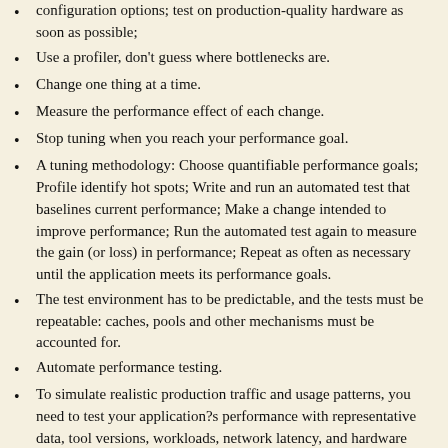configuration options; test on production-quality hardware as soon as possible;
Use a profiler, don't guess where bottlenecks are.
Change one thing at a time.
Measure the performance effect of each change.
Stop tuning when you reach your performance goal.
A tuning methodology: Choose quantifiable performance goals; Profile identify hot spots; Write and run an automated test that baselines current performance; Make a change intended to improve performance; Run the automated test again to measure the gain (or loss) in performance; Repeat as often as necessary until the application meets its performance goals.
The test environment has to be predictable, and the tests must be repeatable: caches, pools and other mechanisms must be accounted for.
Automate performance testing.
To simulate realistic production traffic and usage patterns, you need to test your application?s performance with representative data, tool versions, workloads, network latency, and hardware capacity.
Write "worst case scenario" tests, like user-login storms,
Don't underestimate the value of a tool that can monitor the performance of the real system, no real substitute exists for tuning an application in production: usage patterns in a live ...